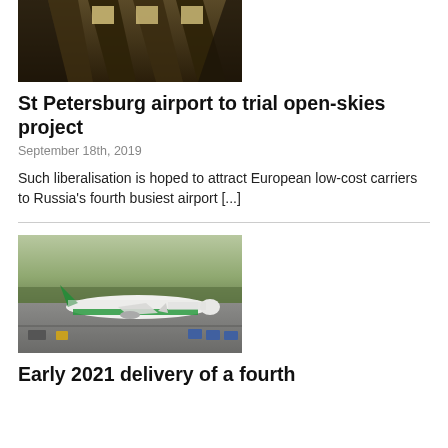[Figure (photo): Interior architectural photo showing angular wooden or concrete ceiling beams with light panels, dark tones.]
St Petersburg airport to trial open-skies project
September 18th, 2019
Such liberalisation is hoped to attract European low-cost carriers to Russia's fourth busiest airport [...]
[Figure (photo): A Turkmenistan Airlines aircraft (wide-body jet with green tail and livery) on airport tarmac with ground vehicles and airport infrastructure in background.]
Early 2021 delivery of a fourth